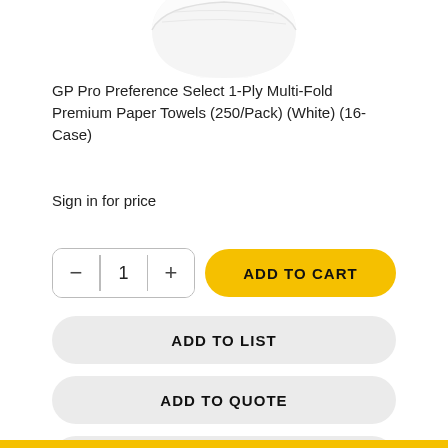[Figure (photo): Partial view of a white paper towel roll product image, cropped at top]
GP Pro Preference Select 1-Ply Multi-Fold Premium Paper Towels (250/Pack) (White) (16-Case)
Sign in for price
1 ADD TO CART
ADD TO LIST
ADD TO QUOTE
SUBSCRIBE